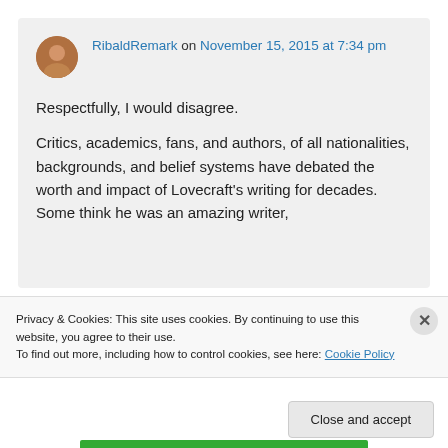RibaldRemark on November 15, 2015 at 7:34 pm
Respectfully, I would disagree.
Critics, academics, fans, and authors, of all nationalities, backgrounds, and belief systems have debated the worth and impact of Lovecraft’s writing for decades. Some think he was an amazing writer,
Privacy & Cookies: This site uses cookies. By continuing to use this website, you agree to their use.
To find out more, including how to control cookies, see here: Cookie Policy
Close and accept